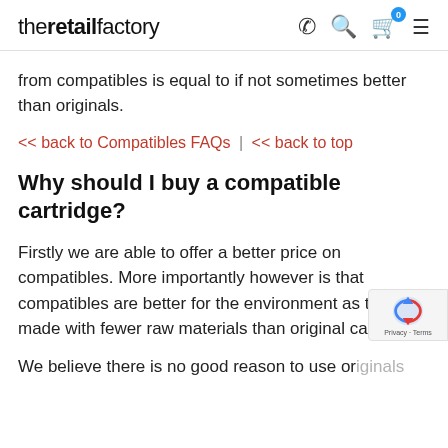theretailfactory — navigation icons: phone, search, cart (0), menu
from compatibles is equal to if not sometimes better than originals.
<< back to Compatibles FAQs | << back to top
Why should I buy a compatible cartridge?
Firstly we are able to offer a better price on compatibles. More importantly however is that compatibles are better for the environment as they are made with fewer raw materials than original cartridges.
We believe there is no good reason to use originals